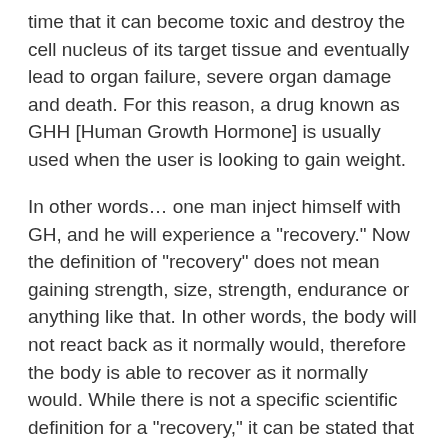time that it can become toxic and destroy the cell nucleus of its target tissue and eventually lead to organ failure, severe organ damage and death. For this reason, a drug known as GHH [Human Growth Hormone] is usually used when the user is looking to gain weight.
In other words… one man inject himself with GH, and he will experience a "recovery." Now the definition of "recovery" does not mean gaining strength, size, strength, endurance or anything like that. In other words, the body will not react back as it normally would, therefore the body is able to recover as it normally would. While there is not a specific scientific definition for a "recovery," it can be stated that in some cases a person should continue to use GH as he would have no reason not to in the first place. He still gains muscle mass on a day-to-day basis, but this can come at a